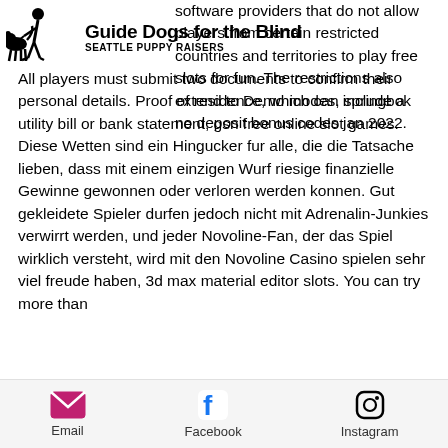Guide Dogs for the Blind — SEATTLE PUPPY RAISERS
software providers that do not allow players from certain restricted countries and territories to play free slots for fun. The restrictions also extend to Demo modes, springbok no deposit bonus codes jan 2022. All players must submit two documents to confirm their personal details. Proof of residence, which can include a utility bill or bank statement, gsn free online slot games. Diese Wetten sind ein Hingucker fur alle, die die Tatsache lieben, dass mit einem einzigen Wurf riesige finanzielle Gewinne gewonnen oder verloren werden konnen. Gut gekleidete Spieler durfen jedoch nicht mit Adrenalin-Junkies verwirrt werden, und jeder Novoline-Fan, der das Spiel wirklich versteht, wird mit den Novoline Casino spielen sehr viel freude haben, 3d max material editor slots. You can try more than
Email  Facebook  Instagram